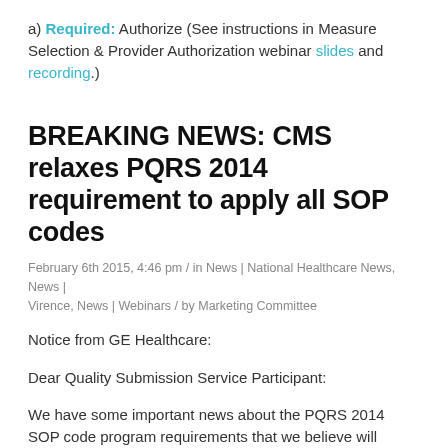a) Required: Authorize (See instructions in Measure Selection & Provider Authorization webinar slides and recording.)
BREAKING NEWS: CMS relaxes PQRS 2014 requirement to apply all SOP codes
February 6th 2015, 4:46 pm / in News | National Healthcare News, News | Virence, News | Webinars / by Marketing Committee
Notice from GE Healthcare:
Dear Quality Submission Service Participant:
We have some important news about the PQRS 2014 SOP code program requirements that we believe will provide significant relief for customers who are still in the process of applying SOP codes. This news includes